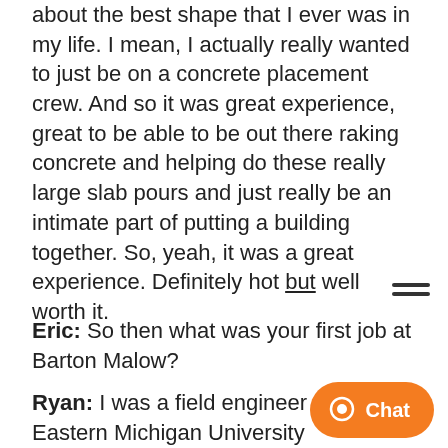about the best shape that I ever was in my life. I mean, I actually really wanted to just be on a concrete placement crew. And so it was great experience, great to be able to be out there raking concrete and helping do these really large slab pours and just really be an intimate part of putting a building together. So, yeah, it was a great experience. Definitely hot but well worth it.
Eric: So then what was your first job at Barton Malow?
Ryan: I was a field engineer on the Eastern Michigan University Convocation Center. It was a design-build pro[ject and we] were responsible for the design [and] execution of this small to medium size